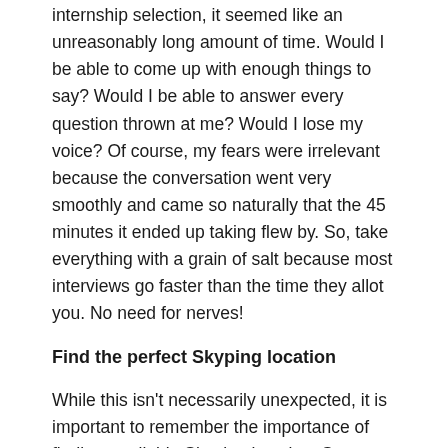internship selection, it seemed like an unreasonably long amount of time. Would I be able to come up with enough things to say? Would I be able to answer every question thrown at me? Would I lose my voice? Of course, my fears were irrelevant because the conversation went very smoothly and came so naturally that the 45 minutes it ended up taking flew by. So, take everything with a grain of salt because most interviews go faster than the time they allot you. No need for nerves!
Find the perfect Skyping location
While this isn't necessarily unexpected, it is important to remember the importance of finding a reliable Skyping location. Some criteria that need to be met include somewhere you feel comfortable, has working Wi-Fi, and won't be interrupted in any way. In my case, I made sure to reserve a room in the library and a backup room